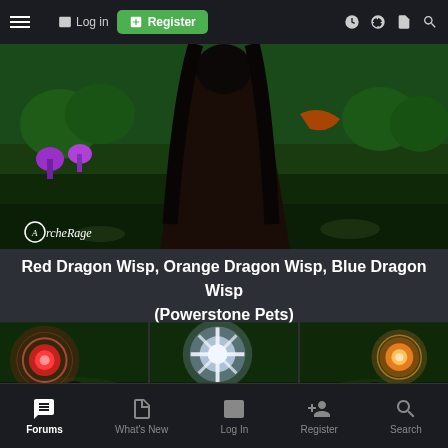Log in | Register
[Figure (screenshot): ArcheRage game screenshot showing a character in a dark robe standing in a lush green fantasy environment with colorful mushroom-like plants. The ArcheRage logo watermark is visible in the bottom left.]
Red Dragon Wisp, Orange Dragon Wisp, Blue Dragon Wisp (Powerstone Pets)
[Figure (screenshot): Three-panel game screenshot showing three different dragon wisp pets: Red Dragon Wisp (left panel, glowing red orb), Blue Dragon Wisp (center panel, glowing white/blue star shape), and Orange Dragon Wisp (right panel, glowing orange orb). Each panel shows a small character companion alongside the wisp.]
Forums | What's New | Log In | Register | Search